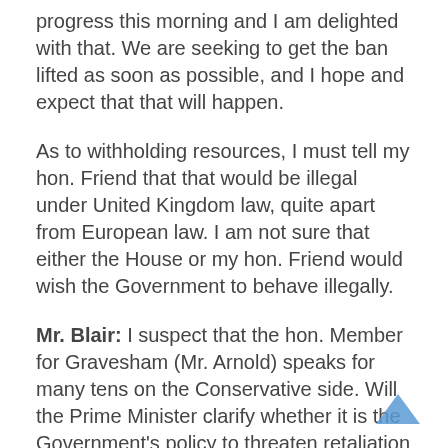progress this morning and I am delighted with that. We are seeking to get the ban lifted as soon as possible, and I hope and expect that that will happen.
As to withholding resources, I must tell my hon. Friend that that would be illegal under United Kingdom law, quite apart from European law. I am not sure that either the House or my hon. Friend would wish the Government to behave illegally.
Mr. Blair: I suspect that the hon. Member for Gravesham (Mr. Arnold) speaks for many tens on the Conservative side. Will the Prime Minister clarify whether it is the Government’s policy to threaten retaliation against Europe over beef, so that the confusion and incompetence at the heart of Government policy may be removed once and for